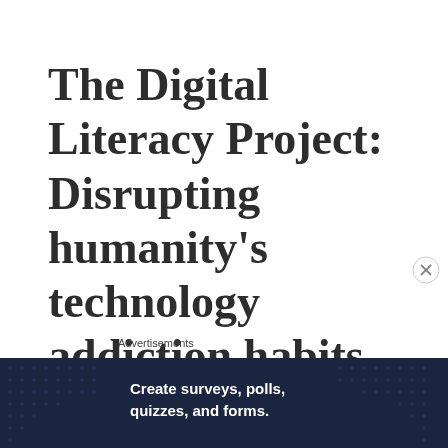The Digital Literacy Project: Disrupting humanity's technology addiction habits one truth at a time.
Advertisements
[Figure (illustration): Advertisement banner: dark navy background with dot pattern, bold white text 'Create surveys, polls, quizzes, and forms.' with WordPress and Trial logo icons on the right. A close (X) button appears above the banner on the right side.]